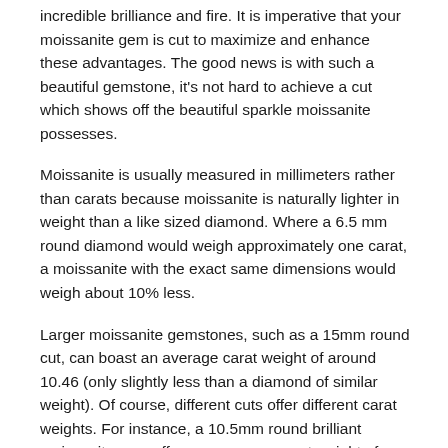incredible brilliance and fire. It is imperative that your moissanite gem is cut to maximize and enhance these advantages. The good news is with such a beautiful gemstone, it's not hard to achieve a cut which shows off the beautiful sparkle moissanite possesses.
Moissanite is usually measured in millimeters rather than carats because moissanite is naturally lighter in weight than a like sized diamond. Where a 6.5 mm round diamond would weigh approximately one carat, a moissanite with the exact same dimensions would weigh about 10% less.
Larger moissanite gemstones, such as a 15mm round cut, can boast an average carat weight of around 10.46 (only slightly less than a diamond of similar weight). Of course, different cuts offer different carat weights. For instance, a 10.5mm round brilliant moissanite gem offers an average carat weight of 4.20ct, while an 11mm gem is 4.75, and an 11.5mm